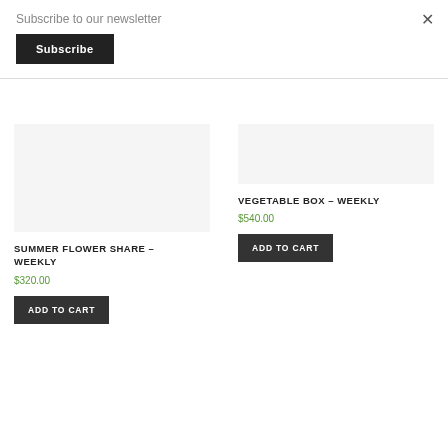Subscribe to our newsletter
Subscribe
×
SUMMER FLOWER SHARE – WEEKLY
$320.00
ADD TO CART
VEGETABLE BOX – WEEKLY
$540.00
ADD TO CART